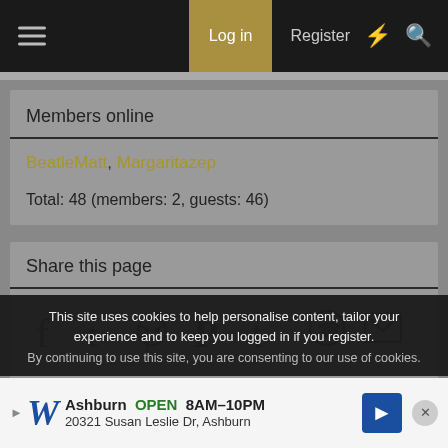Log in | Register
Members online
BeatleMatt, Margaritazep
Total: 48 (members: 2, guests: 46)
Share this page
[Figure (infographic): Social share icons: Facebook, Twitter, Reddit, Pinterest, Tumblr, WhatsApp, Email, Link]
80's Music
This site uses cookies to help personalise content, tailor your experience and to keep you logged in if you register.
By continuing to use this site, you are consenting to our use of cookies.
[Figure (infographic): Walgreens advertisement: Ashburn OPEN 8AM-10PM, 20321 Susan Leslie Dr, Ashburn]